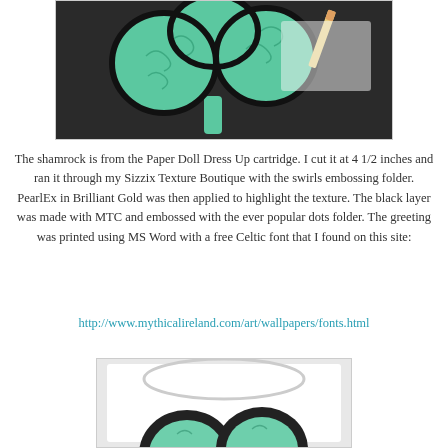[Figure (photo): Close-up photo of a green embossed shamrock shape with swirl texture on a black layer background, with a pencil visible in the corner]
The shamrock is from the Paper Doll Dress Up cartridge. I cut it at 4 1/2 inches and ran it through my Sizzix Texture Boutique with the swirls embossing folder. PearlEx in Brilliant Gold was then applied to highlight the texture. The black layer was made with MTC and embossed with the ever popular dots folder. The greeting was printed using MS Word with a free Celtic font that I found on this site:
http://www.mythicalireland.com/art/wallpapers/fonts.html
[Figure (photo): Partial photo of a card with a shamrock design, showing black outline of shamrock lobes with green textured interior on white background]